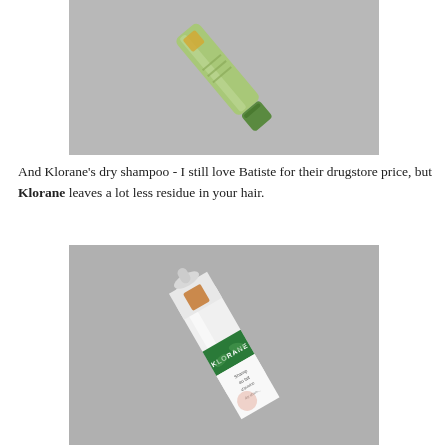[Figure (photo): A green tube of beauty/hair product lying diagonally on a grey surface, photographed from above]
And Klorane's dry shampoo - I still love Batiste for their drugstore price, but Klorane leaves a lot less residue in your hair.
[Figure (photo): A white aerosol can of Klorane dry shampoo with green label, lying diagonally on a grey surface]